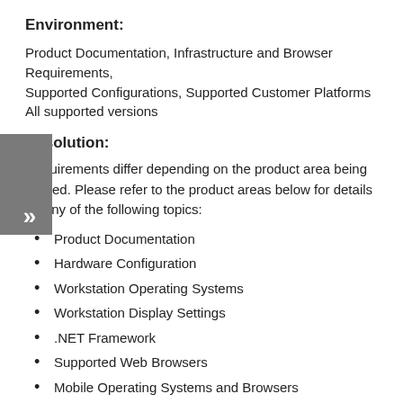Environment:
Product Documentation, Infrastructure and Browser Requirements,
Supported Configurations, Supported Customer Platforms
All supported versions
Resolution:
Requirements differ depending on the product area being utilized. Please refer to the product areas below for details on any of the following topics:
Product Documentation
Hardware Configuration
Workstation Operating Systems
Workstation Display Settings
.NET Framework
Supported Web Browsers
Mobile Operating Systems and Browsers